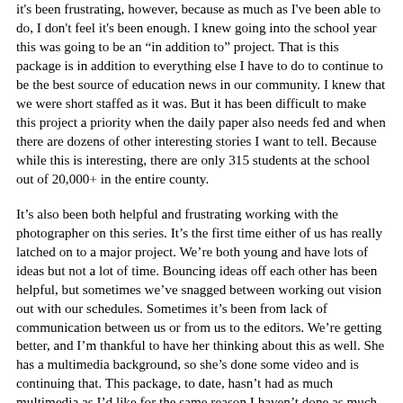it's been frustrating, however, because as much as I've been able to do, I don't feel it's been enough. I knew going into the school year this was going to be an “in addition to” project. That is this package is in addition to everything else I have to do to continue to be the best source of education news in our community. I knew that we were short staffed as it was. But it has been difficult to make this project a priority when the daily paper also needs fed and when there are dozens of other interesting stories I want to tell. Because while this is interesting, there are only 315 students at the school out of 20,000+ in the entire county.
It’s also been both helpful and frustrating working with the photographer on this series. It’s the first time either of us has really latched on to a major project. We’re both young and have lots of ideas but not a lot of time. Bouncing ideas off each other has been helpful, but sometimes we’ve snagged between working out vision out with our schedules. Sometimes it’s been from lack of communication between us or from us to the editors. We’re getting better, and I’m thankful to have her thinking about this as well. She has a multimedia background, so she’s done some video and is continuing that. This package, to date, hasn’t had as much multimedia as I’d like for the same reason I haven’t done as much as I want period: time. Our paper is ~40K circulation. We don’t have a large staff, which means we don’t have time to drop the ball on other things. My priority has been on finding and telling the stories (each package has been the front page plus a spread inside